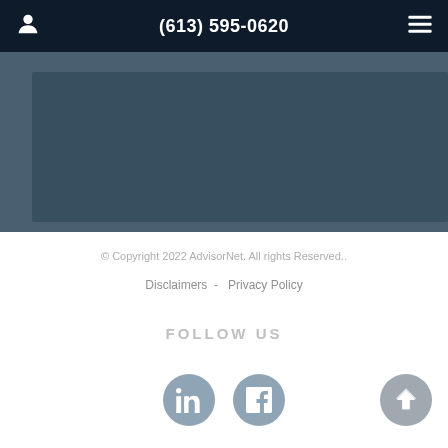(613) 595-0620
[Figure (screenshot): Gray banner/image placeholder area with dark teal background]
© Copyright 2022 AdvisorNet. All rights Reserved..
Disclaimers  -  Privacy Policy
FOLLOW US
[Figure (illustration): LinkedIn icon circle, Facebook icon circle, and scroll-to-top arrow circle]